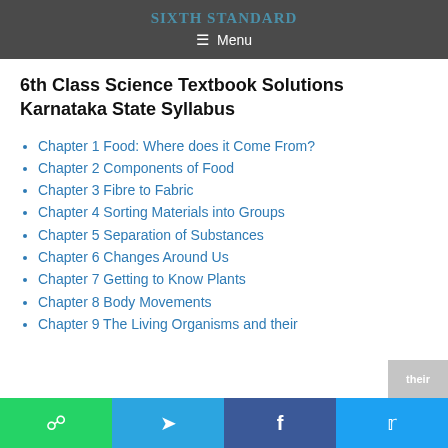SIXTH STANDARD
☰ Menu
6th Class Science Textbook Solutions Karnataka State Syllabus
Chapter 1 Food: Where does it Come From?
Chapter 2 Components of Food
Chapter 3 Fibre to Fabric
Chapter 4 Sorting Materials into Groups
Chapter 5 Separation of Substances
Chapter 6 Changes Around Us
Chapter 7 Getting to Know Plants
Chapter 8 Body Movements
Chapter 9 The Living Organisms and their